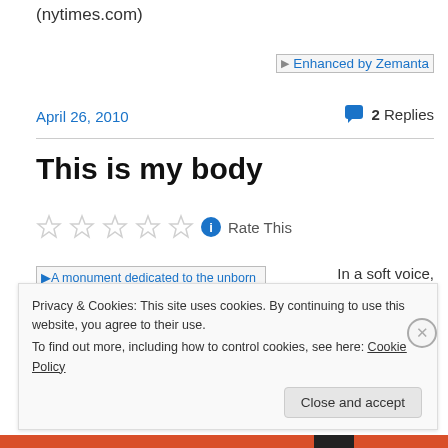(nytimes.com)
[Figure (other): Enhanced by Zemanta image/badge]
April 26, 2010
2 Replies
This is my body
[Figure (other): Five empty star rating icons with info button and Rate This label]
[Figure (photo): A monument dedicated to the unborn victims of...]
In a soft voice, full
Privacy & Cookies: This site uses cookies. By continuing to use this website, you agree to their use.
To find out more, including how to control cookies, see here: Cookie Policy
Close and accept